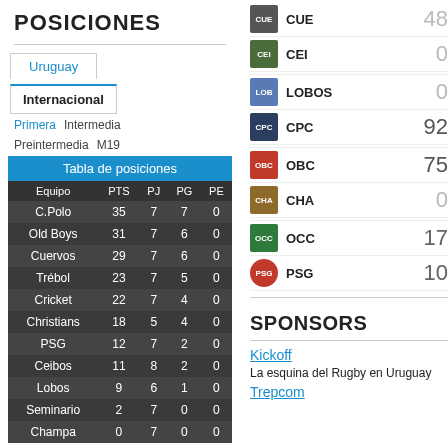POSICIONES
Uruguay | Internacional
Primera  Intermedia  Preintermedia  M19
| Equipo | PTS | PJ | PG | PE |
| --- | --- | --- | --- | --- |
| C.Polo | 35 | 7 | 7 | 0 |
| Old Boys | 31 | 7 | 6 | 0 |
| Cuervos | 29 | 7 | 6 | 0 |
| Trébol | 23 | 7 | 5 | 0 |
| Cricket | 22 | 7 | 4 | 0 |
| Christians | 18 | 5 | 4 | 0 |
| PSG | 12 | 7 | 2 | 0 |
| Ceibos | 11 | 8 | 2 | 0 |
| Lobos | 9 | 6 | 1 | 0 |
| Seminario | 2 | 7 | 0 | 0 |
| Champa | 0 | 7 | 0 | 0 |
CUE 48
CEI 0
LOBOS 0
CPC 92
OBC 75
CHA 0
OCC 17
PSG 10
SPONSORS
Kickoff
La esquina del Rugby en Uruguay
Trepcom